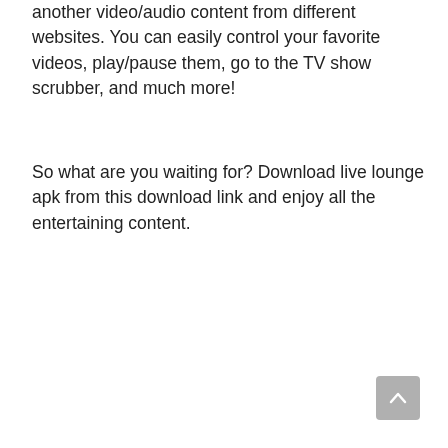another video/audio content from different websites. You can easily control your favorite videos, play/pause them, go to the TV show scrubber, and much more!
So what are you waiting for? Download live lounge apk from this download link and enjoy all the entertaining content.